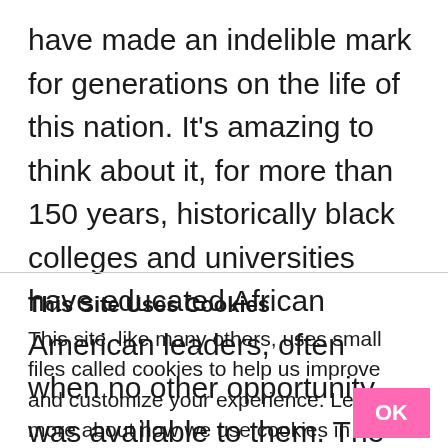have made an indelible mark for generations on the life of this nation. It's amazing to think about it, for more than 150 years, historically black colleges and universities have educated African American leaders, often when no other opportunity was available to them. The
This Site Uses Cookies
This site, like many others, uses small files called cookies to help us improve and customize your experience. Learn more about how we use cookies in our cookie policy.